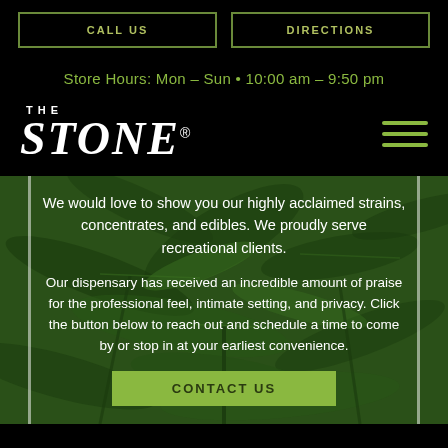CALL US | DIRECTIONS
Store Hours: Mon – Sun • 10:00 am – 9:50 pm
[Figure (logo): The Stone dispensary logo — stylized serif text reading THE STONE with registered trademark symbol]
We would love to show you our highly acclaimed strains, concentrates, and edibles. We proudly serve recreational clients.
Our dispensary has received an incredible amount of praise for the professional feel, intimate setting, and privacy. Click the button below to reach out and schedule a time to come by or stop in at your earliest convenience.
CONTACT US